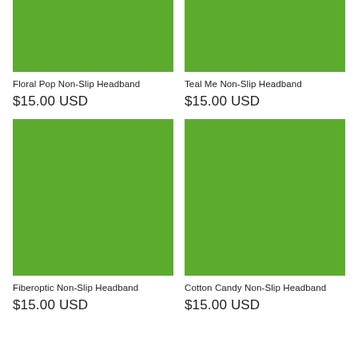[Figure (photo): Green placeholder product image for Floral Pop Non-Slip Headband]
[Figure (photo): Green placeholder product image for Teal Me Non-Slip Headband]
Floral Pop Non-Slip Headband
Teal Me Non-Slip Headband
$15.00 USD
$15.00 USD
[Figure (photo): Green placeholder product image for Fiberoptic Non-Slip Headband]
[Figure (photo): Green placeholder product image for Cotton Candy Non-Slip Headband]
Fiberoptic Non-Slip Headband
Cotton Candy Non-Slip Headband
$15.00 USD
$15.00 USD